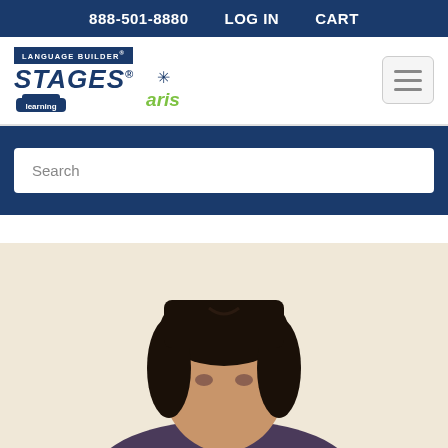888-501-8880   LOG IN   CART
[Figure (logo): Language Builder Stages Learning with aris logo and hamburger menu button]
Search
[Figure (photo): Portrait photo of a person with dark hair against a light beige background, cropped at top of frame]